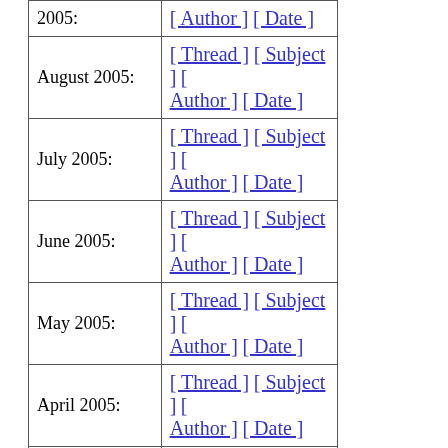| Month | Links |
| --- | --- |
| 2005: | [ Thread ] [ Subject ] [ Author ] [ Date ] |
| August 2005: | [ Thread ] [ Subject ] [ Author ] [ Date ] |
| July 2005: | [ Thread ] [ Subject ] [ Author ] [ Date ] |
| June 2005: | [ Thread ] [ Subject ] [ Author ] [ Date ] |
| May 2005: | [ Thread ] [ Subject ] [ Author ] [ Date ] |
| April 2005: | [ Thread ] [ Subject ] [ Author ] [ Date ] |
| March 2005: | [ Thread ] [ Subject ] [ Author ] [ Date ] |
| February 2005: | [ Thread ] [ Subject ] [ Author ] [ Date ] |
| January 2005: | [ Thread ] [ Subject ] [ Author ] [ Date ] |
| December 2004: | [ Thread ] [ Subject ] [ Author ] [ Date ] |
| November 2004: | [ Thread ] [ Subject ] [ Author ] [ Date ] |
| (partial) | [ Thread ] [ Subject ] [ |